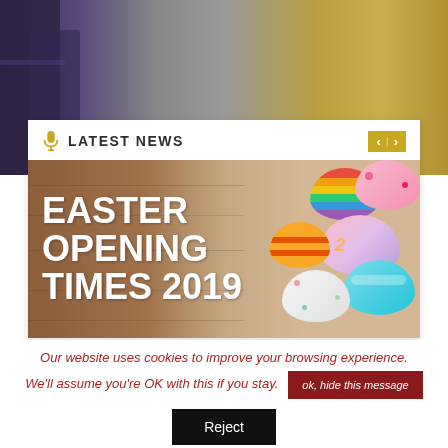[Figure (screenshot): Blurred background photo showing laptop/monitor screens with purple and gold tones]
LATEST NEWS
[Figure (photo): Easter Opening Times 2019 banner with colorful Easter eggs on wooden background]
Our website uses cookies to improve your browsing experience.
We'll assume you're OK with this if you stay.
ok, hide this message
Reject